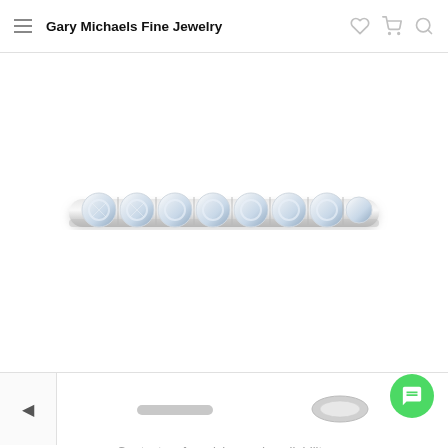Gary Michaels Fine Jewelry
[Figure (photo): A diamond wedding band ring viewed from the side, showing a row of round brilliant-cut diamonds set in white gold/platinum, displayed against a white background.]
[Figure (photo): Thumbnail strip with left navigation arrow and two small thumbnail images of the ring.]
Contact us for pricing and availability.